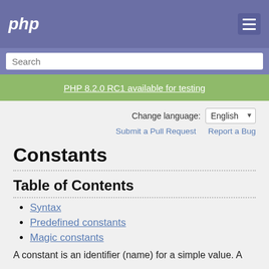php
Search
PHP 8.2.0 RC1 available for testing
Change language: English
Submit a Pull Request   Report a Bug
Constants
Table of Contents
Syntax
Predefined constants
Magic constants
A constant is an identifier (name) for a simple value. A